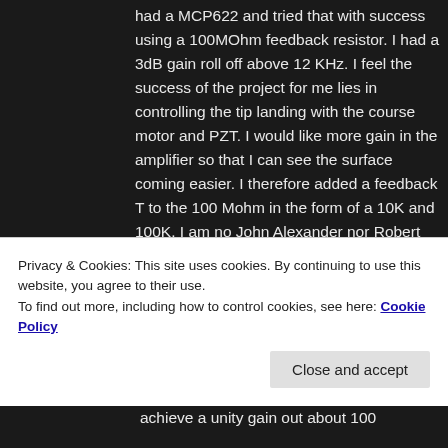had a MCP622 and tried that with success using a 100MOhm feedback resistor. I had a 3dB gain roll off above 12 KHz. I feel the success of the project for me lies in controlling the tip landing with the course motor and PZT. I would like more gain in the amplifier so that I can see the surface coming easier. I therefore added a feedback T to the 100 Mohm in the form of a 10K and 100K. I am no John Alexander nor Robert Pease in electronics so beware. I see John below did some work on the T configuration. I am
Privacy & Cookies: This site uses cookies. By continuing to use this website, you agree to their use.
To find out more, including how to control cookies, see here: Cookie Policy
achieve a unity gain out about 100